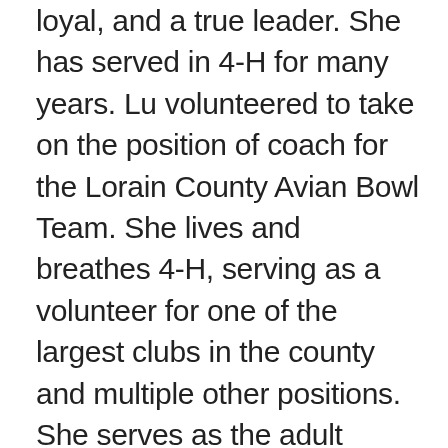loyal, and a true leader. She has served in 4-H for many years. Lu volunteered to take on the position of coach for the Lorain County Avian Bowl Team. She lives and breathes 4-H, serving as a volunteer for one of the largest clubs in the county and multiple other positions. She serves as the adult consultant for the cat/cavy department on the junior fair board. Lu coaches the Lorain County Rabbit Quiz Bowl, Avian Quiz Bowl and poultry judging teams. The teams have competed at nationals and placed high in rankings each year at state. She is the person who somehow manages to make sure a